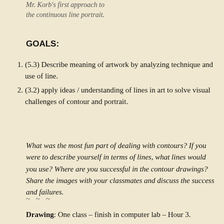Mr. Korb's first approach to the continuous line portrait.
GOALS:
(5.3) Describe meaning of artwork by analyzing technique and use of line.
(3.2) apply ideas / understanding of lines in art to solve visual challenges of contour and portrait.
What was the most fun part of dealing with contours? If you were to describe yourself in terms of lines, what lines would you use? Where are you successful in the contour drawings? Share the images with your classmates and discuss the success and failures.
~~~
Drawing: One class – finish in computer lab – Hour 3.